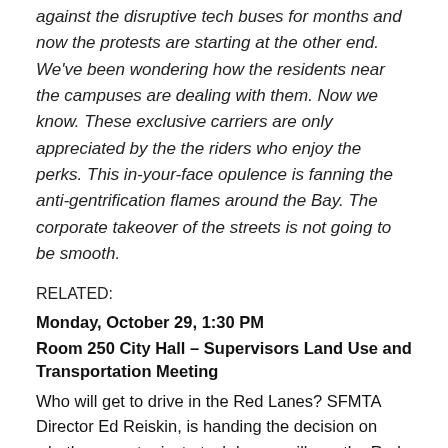against the disruptive tech buses for months and now the protests are starting at the other end. We've been wondering how the residents near the campuses are dealing with them. Now we know. These exclusive carriers are only appreciated by the the riders who enjoy the perks. This in-your-face opulence is fanning the anti-gentrification flames around the Bay. The corporate takeover of the streets is not going to be smooth.
RELATED:
Monday, October 29, 1:30 PM
Room 250 City Hall – Supervisors Land Use and Transportation Meeting
Who will get to drive in the Red Lanes? SFMTA Director Ed Reiskin, is handing the decision on whether or not private tech buses will use the Red Lanes to the